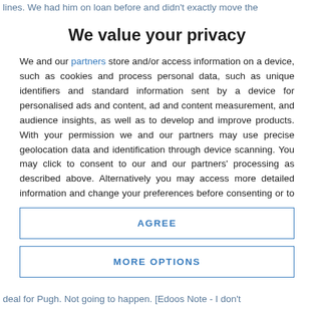lines. We had him on loan before and didn't exactly move the
We value your privacy
We and our partners store and/or access information on a device, such as cookies and process personal data, such as unique identifiers and standard information sent by a device for personalised ads and content, ad and content measurement, and audience insights, as well as to develop and improve products. With your permission we and our partners may use precise geolocation data and identification through device scanning. You may click to consent to our and our partners' processing as described above. Alternatively you may access more detailed information and change your preferences before consenting or to refuse consenting. Please note that some processing of your personal data may not require your consent, but you have a right to
AGREE
MORE OPTIONS
deal for Pugh. Not going to happen. [Edoos Note - I don't